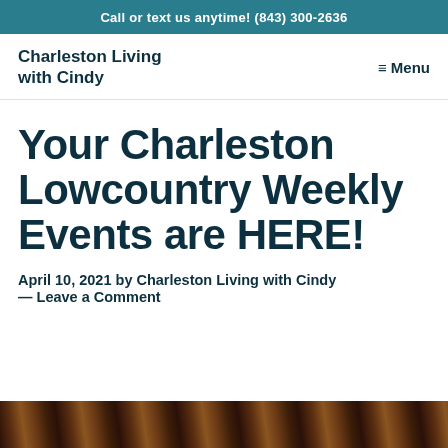Call or text us anytime! (843) 300-2636
Charleston Living with Cindy
≡ Menu
Your Charleston Lowcountry Weekly Events are HERE!
April 10, 2021 by Charleston Living with Cindy — Leave a Comment
[Figure (photo): Bottom edge of a photo showing wooden or architectural elements, partially visible at the bottom of the page.]